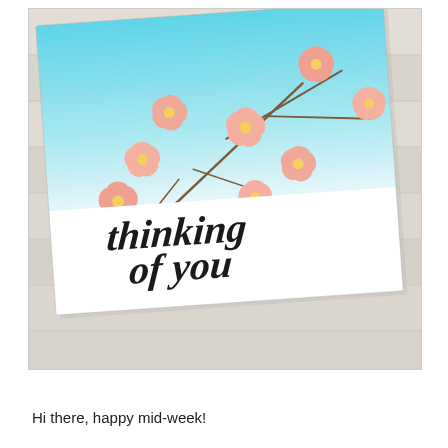[Figure (photo): A handmade greeting card with cherry blossom branch and pink flowers on a blue-to-white gradient background, with cursive text reading 'thinking of you', displayed on a wooden surface]
Hi there, happy mid-week!